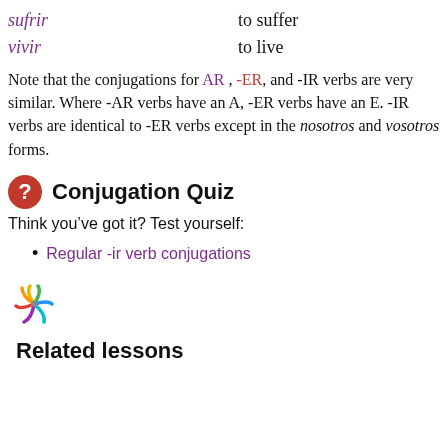sufrir    to suffer
vivir    to live
Note that the conjugations for AR , -ER, and -IR verbs are very similar. Where -AR verbs have an A, -ER verbs have an E. -IR verbs are identical to -ER verbs except in the nosotros and vosotros forms.
Conjugation Quiz
Think you’ve got it? Test yourself:
Regular -ir verb conjugations
Related lessons